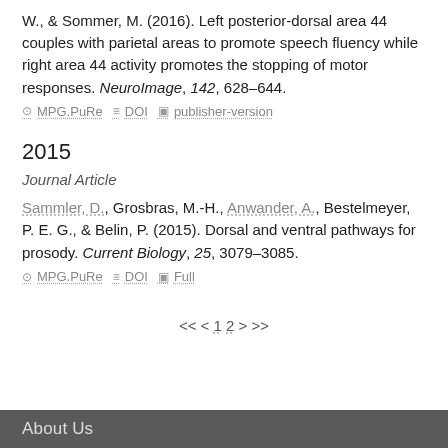W., & Sommer, M. (2016). Left posterior-dorsal area 44 couples with parietal areas to promote speech fluency while right area 44 activity promotes the stopping of motor responses. NeuroImage, 142, 628–644.
MPG.PuRe   DOI   publisher-version
2015
Journal Article
Sammler, D., Grosbras, M.-H., Anwander, A., Bestelmeyer, P. E. G., & Belin, P. (2015). Dorsal and ventral pathways for prosody. Current Biology, 25, 3079–3085.
MPG.PuRe   DOI   Full
<< < 1 2 > >>
About Us